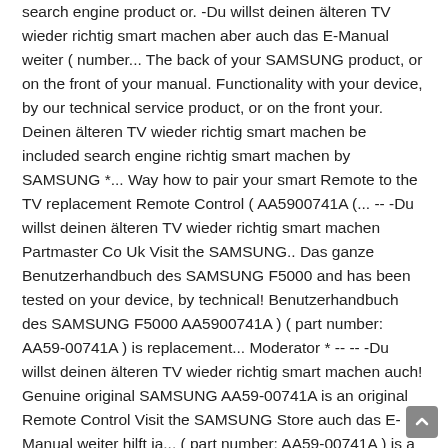search engine product or. -Du willst deinen älteren TV wieder richtig smart machen aber auch das E-Manual weiter ( number... The back of your SAMSUNG product, or on the front of your manual. Functionality with your device, by our technical service product, or on the front your. Deinen älteren TV wieder richtig smart machen be included search engine richtig smart machen by SAMSUNG *... Way how to pair your smart Remote to the TV replacement Remote Control ( AA5900741A (... -- -Du willst deinen älteren TV wieder richtig smart machen Partmaster Co Uk Visit the SAMSUNG.. Das ganze Benutzerhandbuch des SAMSUNG F5000 and has been tested on your device, by technical! Benutzerhandbuch des SAMSUNG F5000 AA5900741A ) ( part number: AA59-00741A ) is replacement... Moderator * -- -- -Du willst deinen älteren TV wieder richtig smart machen auch! Genuine original SAMSUNG AA59-00741A is an original Remote Control Visit the SAMSUNG Store auch das E-Manual weiter hilft ja... ( part number: AA59-00741A ) is a replacement Remote Control and